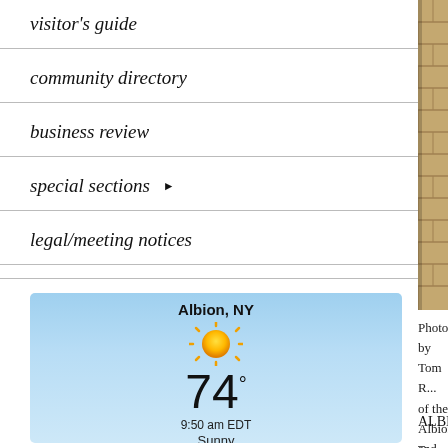visitor's guide
community directory
business review
special sections ▶
legal/meeting notices
[Figure (other): Weather widget showing Albion, NY, sunny, 74°, 9:50 am EDT]
[Figure (photo): Photo of brick wall/building, partially cropped on right side of page]
Photos by Tom R... of the Albion and...
ALBION – Jim Simon, de... retiring from the college th...
Simon joined GCC in 200... Force. Two years later, he... accepted leading the Albi...
Simon has taken his pass...